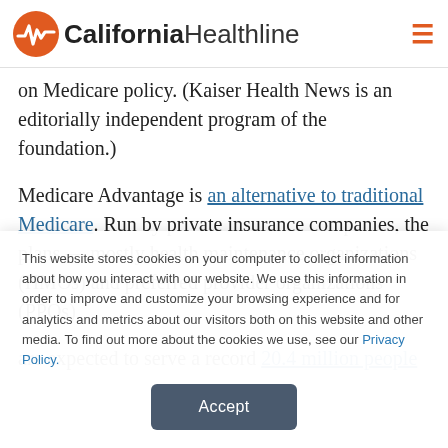California Healthline
on Medicare policy. (Kaiser Health News is an editorially independent program of the foundation.)
Medicare Advantage is an alternative to traditional Medicare. Run by private insurance companies, the plans — mostly health maintenance organizations (HMOs) and preferred provider organizations (PPOs) are expected to serve a record 20.4 million people
This website stores cookies on your computer to collect information about how you interact with our website. We use this information in order to improve and customize your browsing experience and for analytics and metrics about our visitors both on this website and other media. To find out more about the cookies we use, see our Privacy Policy.